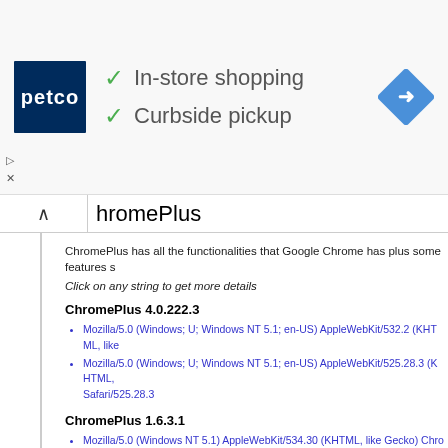[Figure (infographic): Petco advertisement banner showing store logo, checkmarks for In-store shopping and Curbside pickup, and a navigation/directions icon]
hromePlus
ChromePlus has all the functionalities that Google Chrome has plus some features s
Click on any string to get more details
ChromePlus 4.0.222.3
Mozilla/5.0 (Windows; U; Windows NT 5.1; en-US) AppleWebKit/532.2 (KHTML, like
Mozilla/5.0 (Windows; U; Windows NT 5.1; en-US) AppleWebKit/525.28.3 (KHTML, Safari/525.28.3
ChromePlus 1.6.3.1
Mozilla/5.0 (Windows NT 5.1) AppleWebKit/534.30 (KHTML, like Gecko) Chrome/1
ChromePlus 1.6.3.0alpha4
Mozilla/5.0 (Windows NT 6.1) AppleWebKit/534.30 (KHTML, like Gecko) Chrome/1
ChromePlus 1.6.0.0
Mozilla/5.0 (Windows; U; Windows NT 6.1; en-US) AppleWebKit/534.13 (KHTML, li
ChromePlus 1.5.3.0alpha4